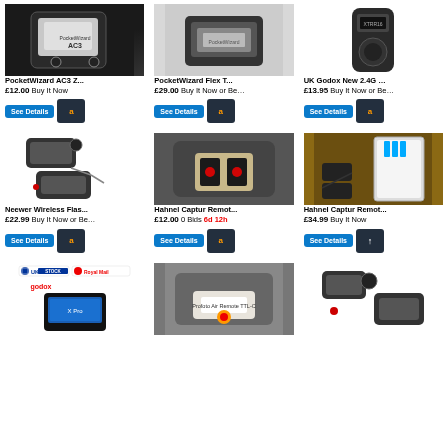[Figure (photo): PocketWizard AC3 ZoneController device, black unit on dark background]
PocketWizard AC3 Z...
£12.00 Buy It Now
[Figure (photo): PocketWizard Flex TT5 transceiver, dark grey unit]
PocketWizard Flex T...
£29.00 Buy It Now or Be…
[Figure (photo): UK Godox New 2.4G XTR16 wireless flash receiver]
UK Godox New 2.4G …
£13.95 Buy It Now or Be…
[Figure (photo): Neewer Wireless Flash Trigger set with transmitter and receiver units and cable]
Neewer Wireless Flas...
£22.99 Buy It Now or Be…
[Figure (photo): Hahnel Captur Remote trigger set with devices shown on grey background]
Hahnel Captur Remot...
£12.00 0 Bids 6d 12h
[Figure (photo): Hahnel Captur Remote trigger kit with batteries and packaging on brown background]
Hahnel Captur Remot...
£34.99 Buy It Now
[Figure (photo): Godox X Pro wireless flash trigger with UK Stock and Royal Mail badges]
[Figure (photo): Profoto Air Remote TTL-C on grey background]
[Figure (photo): Neewer wireless flash trigger units on white background]